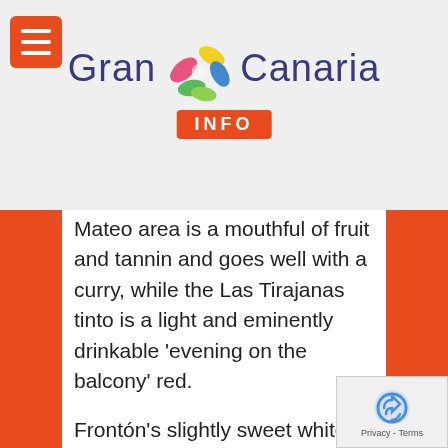Gran Canaria INFO
Mateo area is a mouthful of fruit and tannin and goes well with a curry, while the Las Tirajanas tinto is a light and eminently drinkable ‘evening on the balcony’ red.
Frontón’s slightly sweet white is the White Zinfadel of Gran Canaria; light and eminently quaffable, it’s the Canarian wine that your gran would love.
Both sell for around seven euros a bottle. Caldera; and Agala; also do...